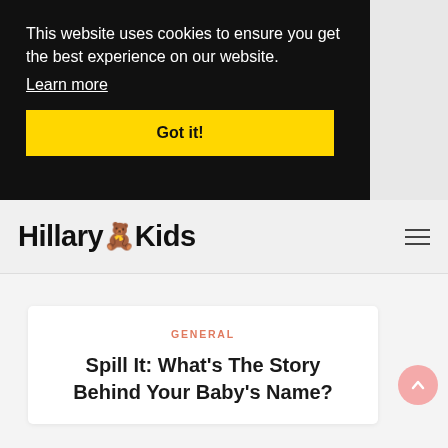This website uses cookies to ensure you get the best experience on our website.
Learn more
Got it!
HillaryKids
GENERAL
Spill It: What's The Story Behind Your Baby's Name?